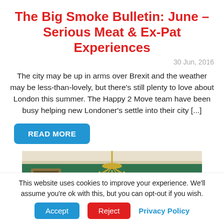The Big Smoke Bulletin: June – Serious Meat & Ex-Pat Experiences
30 Jun, 2016
The city may be up in arms over Brexit and the weather may be less-than-lovely, but there's still plenty to love about London this summer. The Happy 2 Move team have been busy helping new Londoner's settle into their city [...]
READ MORE
[Figure (photo): Interior photo showing an ornate chandelier hanging from a ceiling in a room with green wallpaper and a painting on the wall.]
This website uses cookies to improve your experience. We'll assume you're ok with this, but you can opt-out if you wish.
Accept   Reject   Privacy Policy